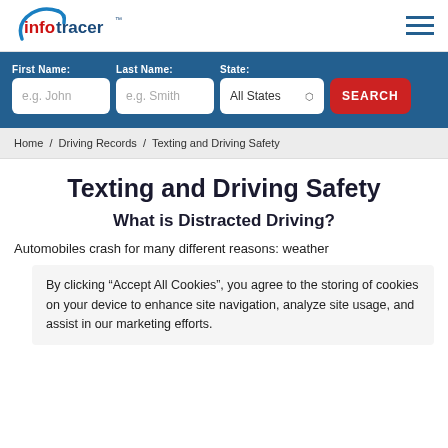InfoTracer logo and navigation
First Name: e.g. John | Last Name: e.g. Smith | State: All States | SEARCH
Home / Driving Records / Texting and Driving Safety
Texting and Driving Safety
What is Distracted Driving?
Automobiles crash for many different reasons: weather
By clicking “Accept All Cookies”, you agree to the storing of cookies on your device to enhance site navigation, analyze site usage, and assist in our marketing efforts.